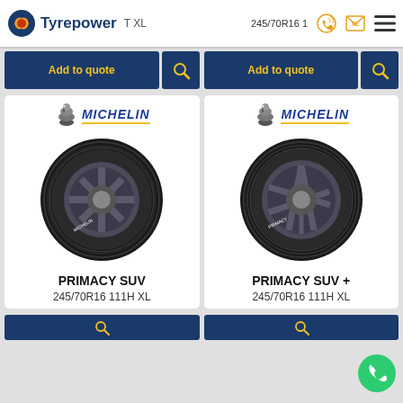[Figure (screenshot): Tyrepower website screenshot showing navigation bar with logo, two Michelin tyre product listings (PRIMACY SUV and PRIMACY SUV+), Add to quote buttons, and a phone FAB button]
Add to quote
Add to quote
PRIMACY SUV
245/70R16 111H XL
PRIMACY SUV +
245/70R16 111H XL